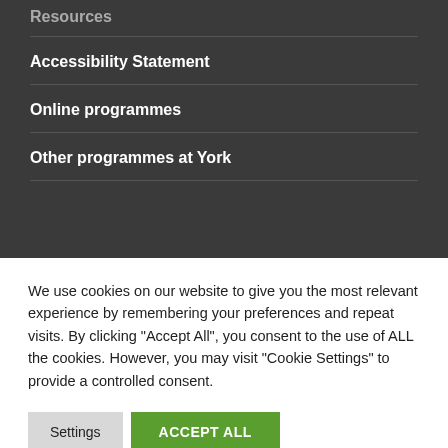Resources
Accessibility Statement
Online programmes
Other programmes at York
We use cookies on our website to give you the most relevant experience by remembering your preferences and repeat visits. By clicking "Accept All", you consent to the use of ALL the cookies. However, you may visit "Cookie Settings" to provide a controlled consent.
Settings | ACCEPT ALL